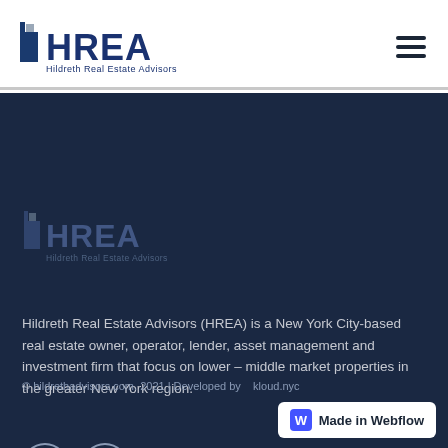[Figure (logo): HREA Hildreth Real Estate Advisors logo in dark navy blue, header version]
[Figure (logo): Hamburger menu icon, three horizontal lines]
[Figure (logo): HREA Hildreth Real Estate Advisors logo, white/muted version on dark background]
Hildreth Real Estate Advisors (HREA) is a New York City-based real estate owner, operator, lender, asset management and investment firm that focus on lower – middle market properties in the greater New York region.
[Figure (other): Instagram and LinkedIn social media icon circles]
© hildrethadvisors.com. 2021 | Developed by   kloud.nyc
[Figure (other): Made in Webflow badge]